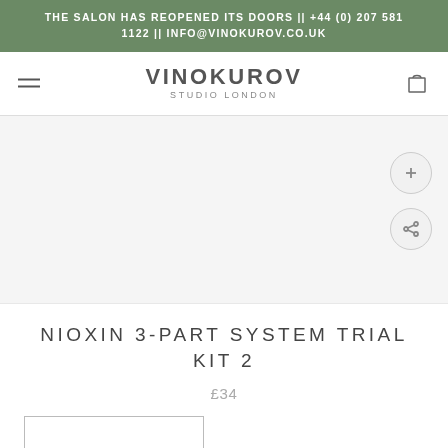THE SALON HAS REOPENED ITS DOORS || +44 (0) 207 581 1122 || INFO@VINOKUROV.CO.UK
[Figure (logo): Vinokurov Studio London logo with hamburger menu on left and shopping bag icon on right]
[Figure (photo): Product image area for Nioxin 3-Part System Trial Kit 2, light grey background with zoom and share floating action buttons]
NIOXIN 3-PART SYSTEM TRIAL KIT 2
£34